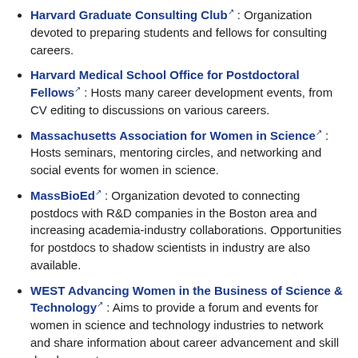Harvard Graduate Consulting Club : Organization devoted to preparing students and fellows for consulting careers.
Harvard Medical School Office for Postdoctoral Fellows : Hosts many career development events, from CV editing to discussions on various careers.
Massachusetts Association for Women in Science : Hosts seminars, mentoring circles, and networking and social events for women in science.
MassBioEd : Organization devoted to connecting postdocs with R&D companies in the Boston area and increasing academia-industry collaborations. Opportunities for postdocs to shadow scientists in industry are also available.
WEST Advancing Women in the Business of Science & Technology : Aims to provide a forum and events for women in science and technology industries to network and share information about career advancement and skill development.